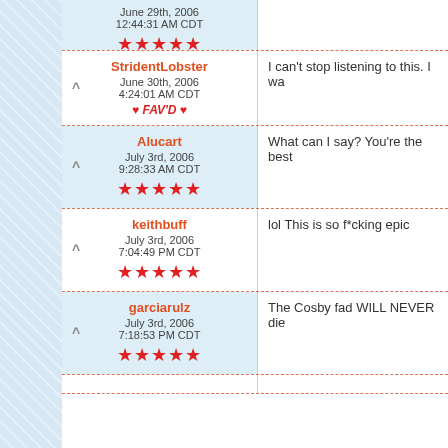June 29th, 2006 12:44:31 AM CDT ★★★★★
StridentLobster June 30th, 2006 4:24:01 AM CDT ♥ FAV'D ♥ | I can't stop listening to this. I wa
Alucart July 3rd, 2006 9:28:33 AM CDT ★★★★★ | What can I say? You're the best
keithbuff July 3rd, 2006 7:04:49 PM CDT ★★★★★ | lol This is so f*cking epic
garciarulz July 3rd, 2006 7:18:53 PM CDT ★★★★★ | The Cosby fad WILL NEVER die